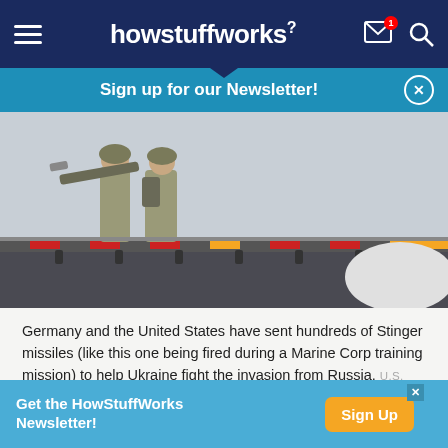howstuffworks
Sign up for our Newsletter!
[Figure (photo): Two soldiers in camouflage uniforms standing on a ship deck, one aiming a Stinger missile launcher, with red and yellow safety markings on the deck behind them.]
Germany and the United States have sent hundreds of Stinger missiles (like this one being fired during a Marine Corp training mission) to help Ukraine fight the invasion from Russia. U.S. NAVY PHOTO BY MASS COMMUNICATION SPECIALIST 2ND CLASS CHANDLER HARRELL
Get the HowStuffWorks Newsletter! Sign Up